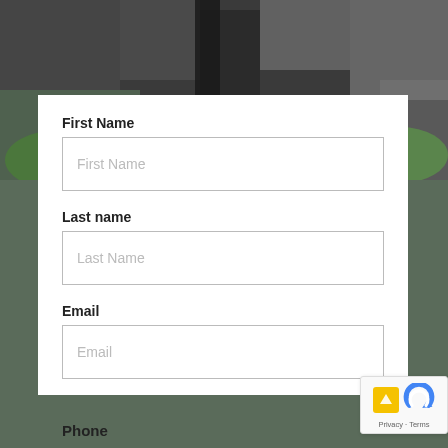[Figure (photo): Dark nature background with stone/concrete texture and green leaves, used as page background]
First Name
First Name (placeholder in input field)
Last name
Last Name (placeholder in input field)
Email
Email (placeholder in input field)
Phone
[Figure (other): reCAPTCHA badge with yellow square icon, blue reCAPTCHA logo, and Privacy - Terms link]